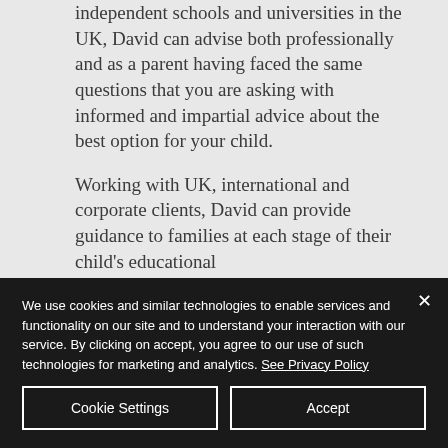independent schools and universities in the UK, David can advise both professionally and as a parent having faced the same questions that you are asking with informed and impartial advice about the best option for your child.
Working with UK, international and corporate clients, David can provide guidance to families at each stage of their child's educational
We use cookies and similar technologies to enable services and functionality on our site and to understand your interaction with our service. By clicking on accept, you agree to our use of such technologies for marketing and analytics. See Privacy Policy